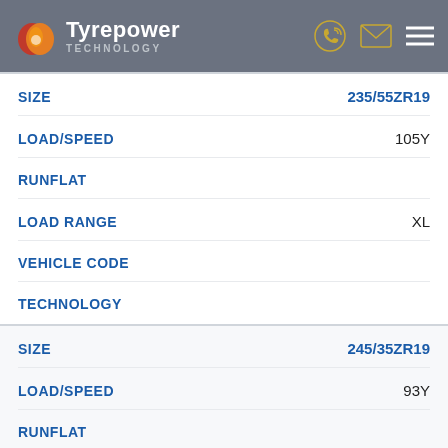Tyrepower TECHNOLOGY
| Property | Value |
| --- | --- |
| SIZE | 235/55ZR19 |
| LOAD/SPEED | 105Y |
| RUNFLAT |  |
| LOAD RANGE | XL |
| VEHICLE CODE |  |
| TECHNOLOGY |  |
| Property | Value |
| --- | --- |
| SIZE | 245/35ZR19 |
| LOAD/SPEED | 93Y |
| RUNFLAT |  |
| LOAD RANGE |  |
| VEHICLE CODE |  |